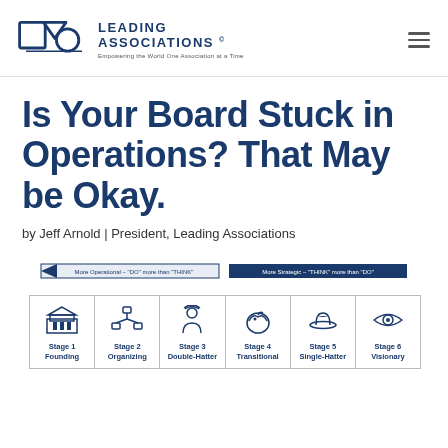Leading Associations — Empowering the World One Association at a Time
Is Your Board Stuck in Operations? That May be Okay.
by Jeff Arnold | President, Leading Associations
[Figure (infographic): Horizontal diagram showing two opposing arrows labeled 'More Operational – DO more than THINK' (pointing left) and 'More Strategic – THINK more than DO' (pointing right), above a row of 6 stages: Stage 1 Founding, Stage 2 Organizing, Stage 3 Double-Hatter, Stage 4 Transitional, Stage 5 Single-Hatter, Stage 6 Visionary, each with an icon.]